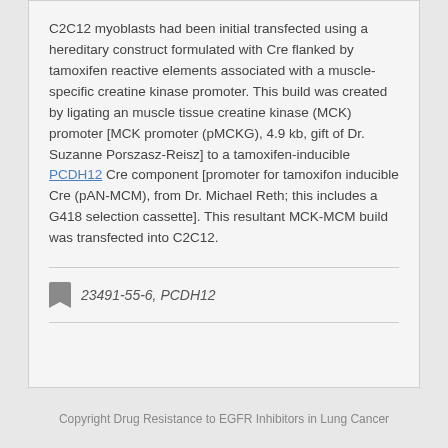C2C12 myoblasts had been initial transfected using a hereditary construct formulated with Cre flanked by tamoxifen reactive elements associated with a muscle-specific creatine kinase promoter. This build was created by ligating an muscle tissue creatine kinase (MCK) promoter [MCK promoter (pMCKG), 4.9 kb, gift of Dr. Suzanne Porszasz-Reisz] to a tamoxifen-inducible PCDH12 Cre component [promoter for tamoxifon inducible Cre (pAN-MCM), from Dr. Michael Reth; this includes a G418 selection cassette]. This resultant MCK-MCM build was transfected into C2C12.
23491-55-6, PCDH12
Copyright Drug Resistance to EGFR Inhibitors in Lung Cancer